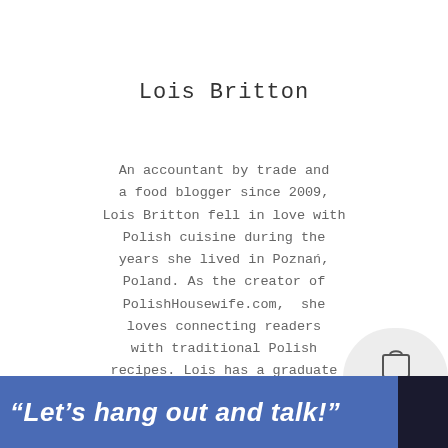Lois Britton
An accountant by trade and a food blogger since 2009, Lois Britton fell in love with Polish cuisine during the years she lived in Poznań, Poland. As the creator of PolishHousewife.com, she loves connecting readers with traditional Polish recipes. Lois has a graduate certificate in Food Writing and Photography from the University of South Florida. She is the author of The Polish Housewife Cookbook,
“Let’s hang out and talk!”